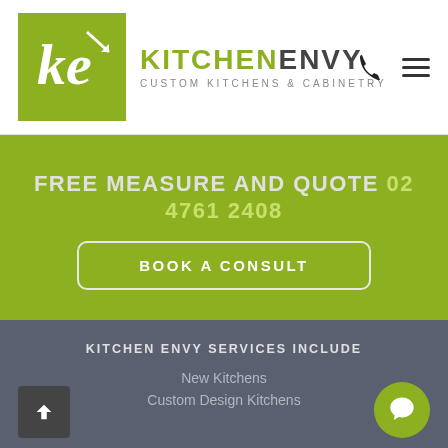[Figure (logo): Kitchen Envy logo with green box containing stylized 'ke' initials, followed by brand name KITCHENENVY and tagline CUSTOM KITCHENS & CABINETRY]
FREE MEASURE AND QUOTE 02 4761 2408
BOOK A CONSULT
KITCHEN ENVY SERVICES INCLUDE
New Kitchens
Custom Design Kitchens